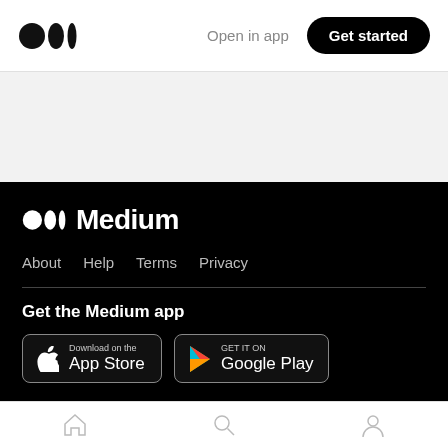[Figure (logo): Medium logo (three dots) in top navigation bar]
Open in app
Get started
[Figure (logo): Medium logo (three dots + 'Medium' text) in footer]
About   Help   Terms   Privacy
Get the Medium app
[Figure (other): App Store download button with Apple logo]
[Figure (other): Google Play download button with Play store logo]
[Figure (other): Bottom navigation bar with home, search, and profile icons]